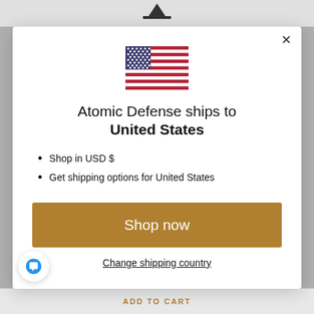[Figure (illustration): US flag icon centered at top of modal]
Atomic Defense ships to United States
Shop in USD $
Get shipping options for United States
Shop now
Change shipping country
ADD TO CART